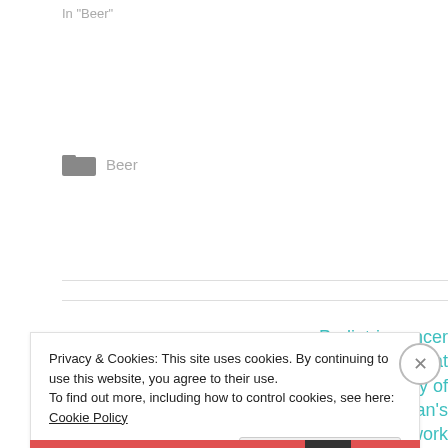In "Beer"
Beer
← Michael Jackson as racial unifier
Pediatric cancer patient checks in at age 55; beneficiary of Dr Charlotte Tan's actinomycin D work
Privacy & Cookies: This site uses cookies. By continuing to use this website, you agree to their use.
To find out more, including how to control cookies, see here: Cookie Policy
Close and accept